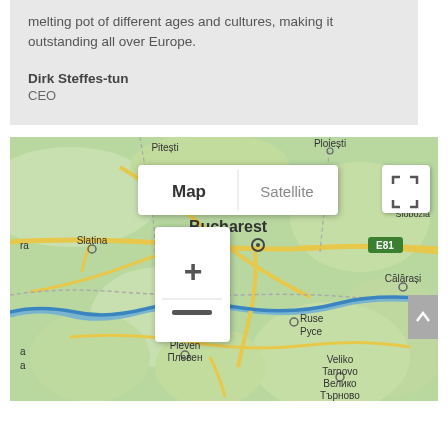melting pot of different ages and cultures, making it outstanding all over Europe.
Dirk Steffes-tun
CEO
[Figure (map): Google Maps view centered on Bucharest, Romania, showing surrounding regions including Slatina, Pitesti, Ploiesti, Slobozia, Calarasi, Ruse/Ryce, Pleven/Плевен, Veliko Tarnovo/Велико Търново. Map/Satellite toggle buttons and zoom +/- controls visible.]